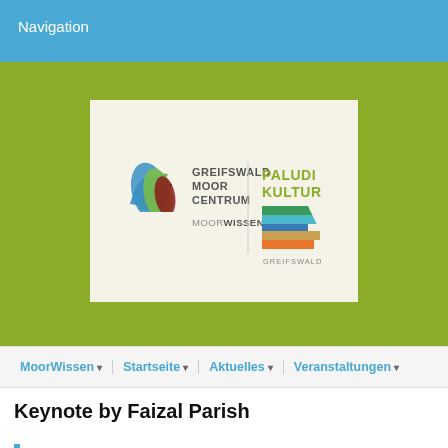Navigation
[Figure (logo): Greifswald Moor Centrum logo with MoorWissen text, and Paludikultur Greifswald logo with colored stripe graphic]
MoorWissen ▾   Startseite ▾   Aktuelles ▾   Veranstaltungen ▾
Keynote by Faizal Parish